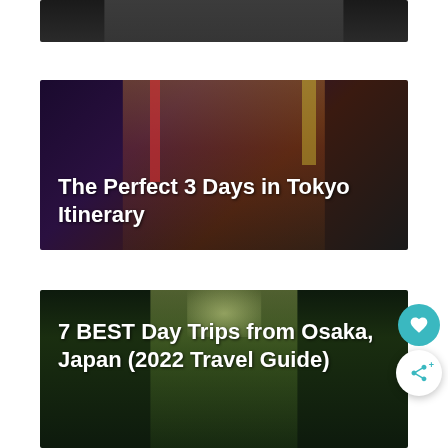[Figure (photo): Partial view of a dark city street photo cropped at top of page]
[Figure (photo): Night time Tokyo neon-lit street scene with colorful signs]
The Perfect 3 Days in Tokyo Itinerary
[Figure (photo): Green bamboo forest or park pathway with glowing light at top]
7 BEST Day Trips from Osaka, Japan (2022 Travel Guide)